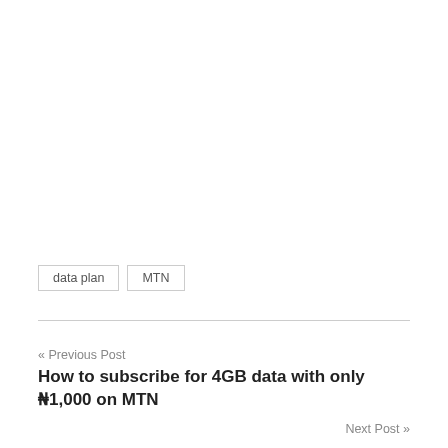data plan
MTN
« Previous Post
How to subscribe for 4GB data with only ₦1,000 on MTN
Next Post »